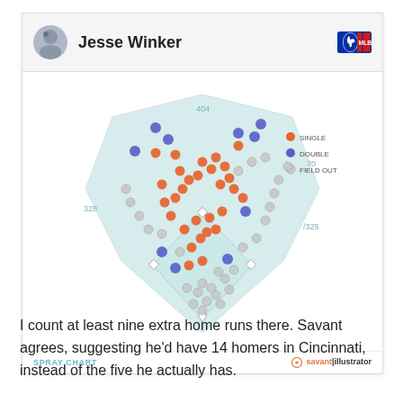[Figure (infographic): Baseball spray chart for Jesse Winker showing hit locations on a field diagram. Orange circles = singles, blue/purple circles = doubles, gray circles = field outs. Field distances labeled: 404 (center), 70 (right center), 328 (left), 325 (right). Legend shows SINGLE (orange), DOUBLE (blue), FIELD OUT (gray). Footer: SPRAY CHART | savant illustrator logo.]
I count at least nine extra home runs there. Savant agrees, suggesting he'd have 14 homers in Cincinnati, instead of the five he actually has.